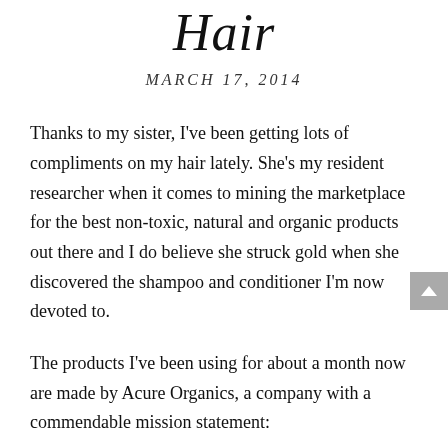Hair
MARCH 17, 2014
Thanks to my sister, I've been getting lots of compliments on my hair lately. She's my resident researcher when it comes to mining the marketplace for the best non-toxic, natural and organic products out there and I do believe she struck gold when she discovered the shampoo and conditioner I'm now devoted to.
The products I've been using for about a month now are made by Acure Organics, a company with a commendable mission statement: